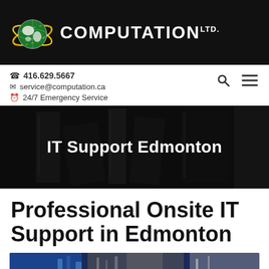COMPUTATION Ltd.
📞 416.629.5667
✉ service@computation.ca
⏰ 24/7 Emergency Service
IT Support Edmonton
Professional Onsite IT Support in Edmonton
[Figure (photo): Data center or server room with blue lighting, partially visible at the bottom of the page]